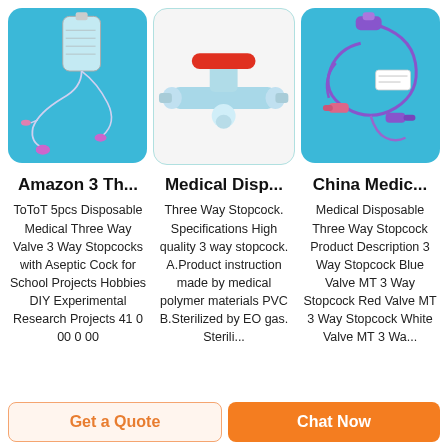[Figure (photo): Medical IV infusion set with tubing and bag on blue background]
[Figure (photo): Red and blue three-way stopcock on white background]
[Figure (photo): Purple medical tubing and connectors on blue background]
Amazon 3 Th...
Medical Disp...
China Medic...
ToToT 5pcs Disposable Medical Three Way Valve 3 Way Stopcocks with Aseptic Cock for School Projects Hobbies DIY Experimental Research Projects 41 0 00 0 00
Three Way Stopcock. Specifications High quality 3 way stopcock. A.Product instruction made by medical polymer materials PVC B.Sterilized by EO gas. Sterili...
Medical Disposable Three Way Stopcock Product Description 3 Way Stopcock Blue Valve MT 3 Way Stopcock Red Valve MT 3 Way Stopcock White Valve MT 3 Wa...
Get a Quote
Chat Now